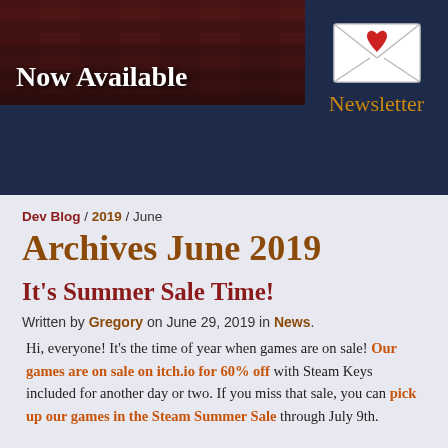[Figure (illustration): Dark navy header section with a reddish-brown banner image showing 'Now Available' text on left, and a newsletter envelope icon with heart on right side with 'Newsletter' label in orange]
Dev Blog / 2019 / June
Archives June 2019
It's Summer Sale Time!
Written by Gregory on June 29, 2019 in News.
Hi, everyone! It's the time of year when games are on sale! Our games are on sale on itch.io for 60% off with Steam Keys included for another day or two. If you miss that sale, you can pick up our games in the Steam Summer Sale through July 9th.